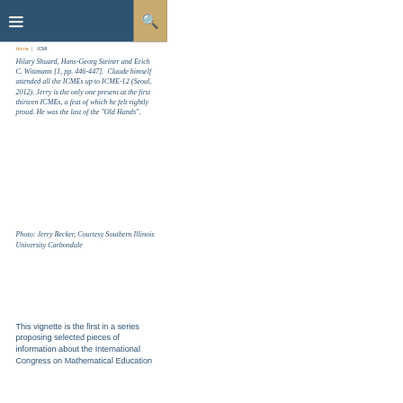☰  🔍
Home | ICMI
Hilary Shuard, Hans-Georg Steiner and Erich C. Wittmann [1, pp. 446-447].  Claude himself attended all the ICMEs up to ICME-12 (Seoul, 2012). Jerry is the only one present at the first thirteen ICMEs, a feat of which he felt rightly proud. He was the last of the "Old Hands".
Photo: Jerry Becker, Courtesy Southern Illinois University Carbondale
This vignette is the first in a series proposing selected pieces of information about the International Congress on Mathematical Education